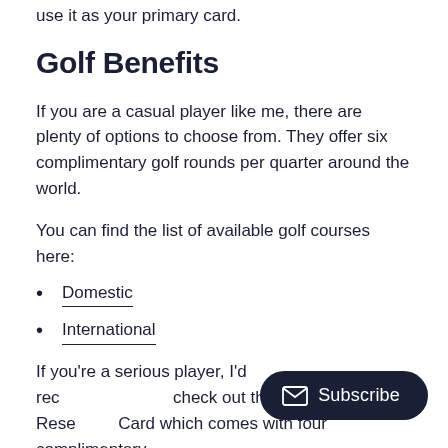use it as your primary card.
Golf Benefits
If you are a casual player like me, there are plenty of options to choose from. They offer six complimentary golf rounds per quarter around the world.
You can find the list of available golf courses here:
Domestic
International
If you're a serious player, I'd rec check out the AmEx Platinum Rese Card which comes with four complimentary